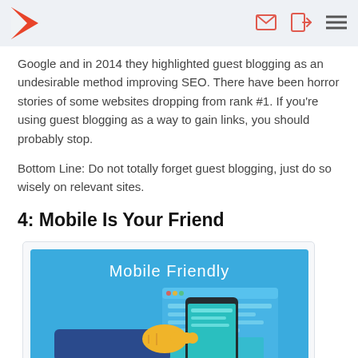[Logo and navigation icons: envelope, sign-in, menu]
Google and in 2014 they highlighted guest blogging as an undesirable method improving SEO. There have been horror stories of some websites dropping from rank #1. If you're using guest blogging as a way to gain links, you should probably stop.
Bottom Line: Do not totally forget guest blogging, just do so wisely on relevant sites.
4: Mobile Is Your Friend
[Figure (illustration): Mobile Friendly illustration showing a hand pointing at a smartphone with a responsive website layout in the background on a blue background.]